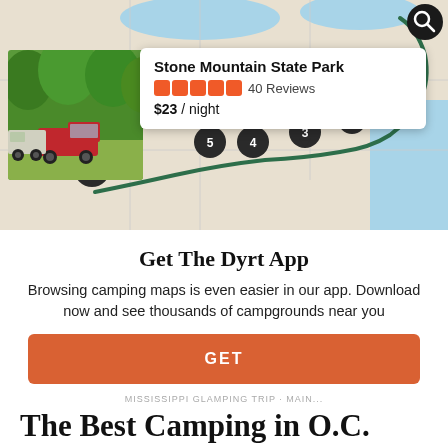[Figure (map): A road map showing a route through the eastern United States with numbered location pins (1-5) and a star pin, with a winding green route line connecting them.]
[Figure (photo): Photo of a red truck with a camping trailer parked in a green wooded area at Stone Mountain State Park.]
Stone Mountain State Park
40 Reviews
$23 / night
Get The Dyrt App
Browsing camping maps is even easier in our app. Download now and see thousands of campgrounds near you
GET
MISSISSIPPI GLAMPING TRIP · MAIN...
The Best Camping in O.C. Fisher Lake, Mississippi